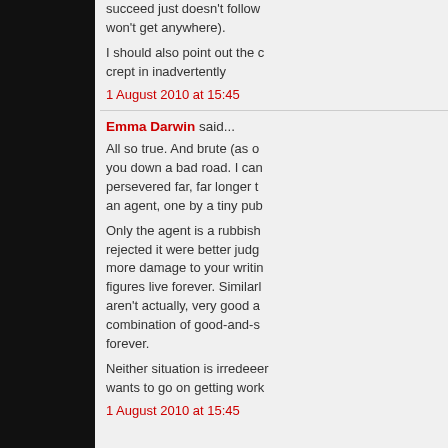succeed just doesn't follow won't get anywhere).
I should also point out the c crept in inadvertently
1 August 2010 at 15:45
Emma Darwin said...
All so true. And brute (as o you down a bad road. I can persevered far, far longer t an agent, one by a tiny pub
Only the agent is a rubbish rejected it were better judg more damage to your writin figures live forever. Similarl aren't actually, very good a combination of good-and-s forever.
Neither situation is irredeeer wants to go on getting work
1 August 2010 at 15:45